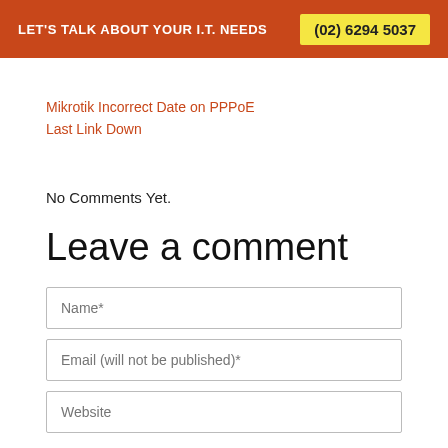LET'S TALK ABOUT YOUR I.T. NEEDS  (02) 6294 5037
Mikrotik Incorrect Date on PPPoE Last Link Down
No Comments Yet.
Leave a comment
Name*
Email (will not be published)*
Website